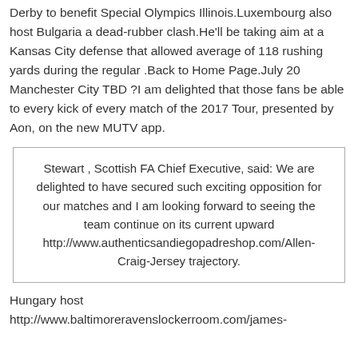Derby to benefit Special Olympics Illinois.Luxembourg also host Bulgaria a dead-rubber clash.He'll be taking aim at a Kansas City defense that allowed average of 118 rushing yards during the regular .Back to Home Page.July 20 Manchester City TBD ?I am delighted that those fans be able to every kick of every match of the 2017 Tour, presented by Aon, on the new MUTV app.
Stewart , Scottish FA Chief Executive, said: We are delighted to have secured such exciting opposition for our matches and I am looking forward to seeing the team continue on its current upward http://www.authenticsandiegopadreshop.com/Allen-Craig-Jersey trajectory.
Hungary host http://www.baltimoreravenslockerroom.com/james-